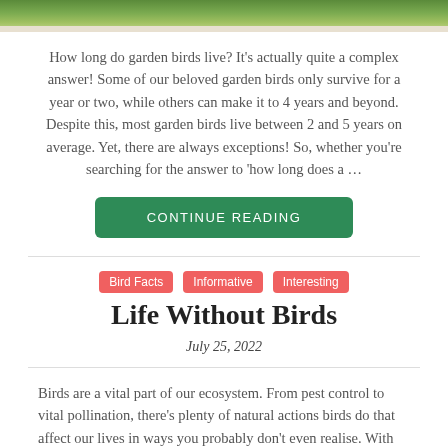[Figure (photo): Top portion of a bird photo with green bokeh background, cropped at top of page]
How long do garden birds live? It's actually quite a complex answer! Some of our beloved garden birds only survive for a year or two, while others can make it to 4 years and beyond. Despite this, most garden birds live between 2 and 5 years on average. Yet, there are always exceptions! So, whether you're searching for the answer to 'how long does a …
CONTINUE READING
Bird Facts   Informative   Interesting
Life Without Birds
July 25, 2022
Birds are a vital part of our ecosystem. From pest control to vital pollination, there's plenty of natural actions birds do that affect our lives in ways you probably don't even realise. With